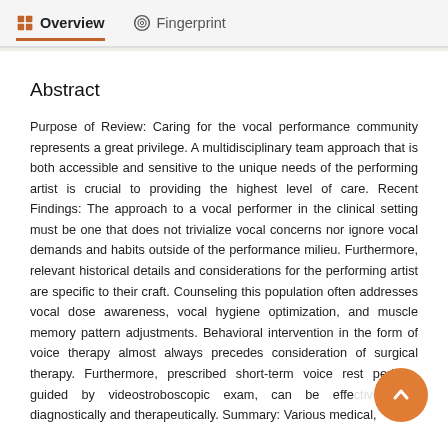Overview   Fingerprint
Abstract
Purpose of Review: Caring for the vocal performance community represents a great privilege. A multidisciplinary team approach that is both accessible and sensitive to the unique needs of the performing artist is crucial to providing the highest level of care. Recent Findings: The approach to a vocal performer in the clinical setting must be one that does not trivialize vocal concerns nor ignore vocal demands and habits outside of the performance milieu. Furthermore, relevant historical details and considerations for the performing artist are specific to their craft. Counseling this population often addresses vocal dose awareness, vocal hygiene optimization, and muscle memory pattern adjustments. Behavioral intervention in the form of voice therapy almost always precedes consideration of surgical therapy. Furthermore, prescribed short-term voice rest periods, guided by videostroboscopic exam, can be effective both diagnostically and therapeutically. Summary: Various medical,